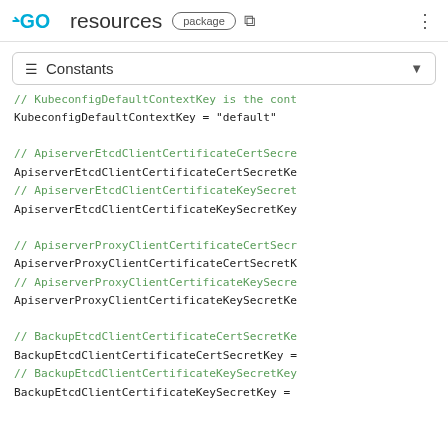GO resources package
Constants
// KubeconfigDefaultContextKey is the cont
KubeconfigDefaultContextKey = "default"

// ApiserverEtcdClientCertificateCertSecre
ApiserverEtcdClientCertificateCertSecretKe
// ApiserverEtcdClientCertificateKeySecret
ApiserverEtcdClientCertificateKeySecretKey

// ApiserverProxyClientCertificateCertSecr
ApiserverProxyClientCertificateCertSecretK
// ApiserverProxyClientCertificateKeySecre
ApiserverProxyClientCertificateKeySecretKe

// BackupEtcdClientCertificateCertSecretKe
BackupEtcdClientCertificateCertSecretKey =
// BackupEtcdClientCertificateKeySecretKey
BackupEtcdClientCertificateKeySecretKey =